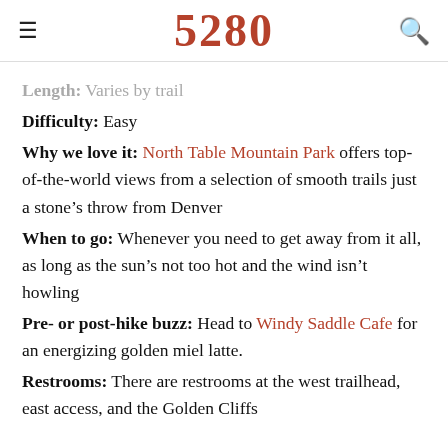5280
Length: Varies by trail
Difficulty: Easy
Why we love it: North Table Mountain Park offers top-of-the-world views from a selection of smooth trails just a stone's throw from Denver
When to go: Whenever you need to get away from it all, as long as the sun's not too hot and the wind isn't howling
Pre- or post-hike buzz: Head to Windy Saddle Cafe for an energizing golden miel latte.
Restrooms: There are restrooms at the west trailhead, east access, and the Golden Cliffs